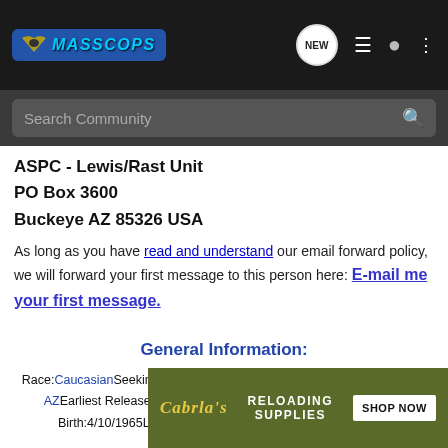MASSCOPS [navigation bar with logo, NEW button, list icon, person icon, dots icon]
Search Community
ASPC - Lewis/Rast Unit
PO Box 3600
Buckeye AZ 85326 USA
As long as you have read and understand our email forward policy, we will forward your first message to this person here: E-mail me your first message.
General Information:
Race:CaucasianSeeking Donations:YesReligion:n/aHome Town:Phoenix, AZEarliest Release Date:04/20/2009Marital Status:SingleDate Of Birth:4/10/1965Latest Release Date:[...]Sexual Orient[...]Armed Rob[...]
[Figure (screenshot): Cabela's Reloading Supplies advertisement banner with Shop Now button]